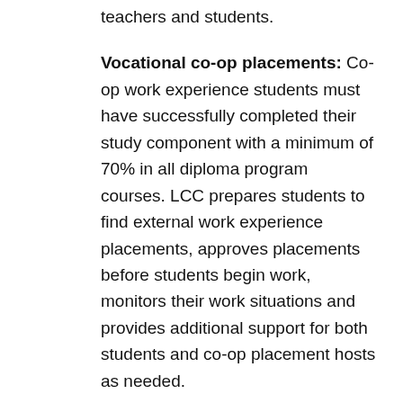teachers and students.
Vocational co-op placements: Co-op work experience students must have successfully completed their study component with a minimum of 70% in all diploma program courses. LCC prepares students to find external work experience placements, approves placements before students begin work, monitors their work situations and provides additional support for both students and co-op placement hosts as needed.
Procedure for TESOL Diploma Program practicum:
When a student is ready for a teaching practicum (having successfully completed the TESOL